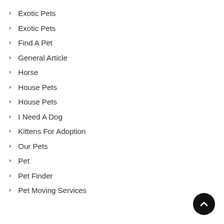Exotic Pets
Exotic Pets
Find A Pet
General Article
Horse
House Pets
House Pets
I Need A Dog
Kittens For Adoption
Our Pets
Pet
Pet Finder
Pet Moving Services